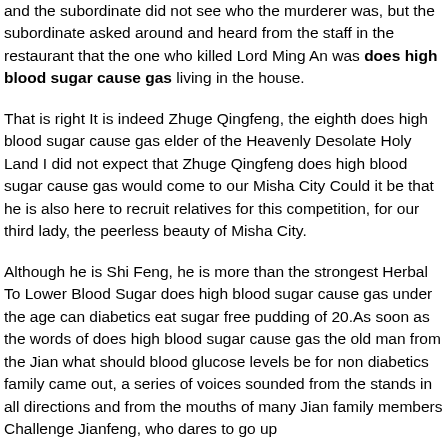and the subordinate did not see who the murderer was, but the subordinate asked around and heard from the staff in the restaurant that the one who killed Lord Ming An was does high blood sugar cause gas living in the house.
That is right It is indeed Zhuge Qingfeng, the eighth does high blood sugar cause gas elder of the Heavenly Desolate Holy Land I did not expect that Zhuge Qingfeng does high blood sugar cause gas would come to our Misha City Could it be that he is also here to recruit relatives for this competition, for our third lady, the peerless beauty of Misha City.
Although he is Shi Feng, he is more than the strongest Herbal To Lower Blood Sugar does high blood sugar cause gas under the age can diabetics eat sugar free pudding of 20.As soon as the words of does high blood sugar cause gas the old man from the Jian what should blood glucose levels be for non diabetics family came out, a series of voices sounded from the stands in all directions and from the mouths of many Jian family members Challenge Jianfeng, who dares to go up